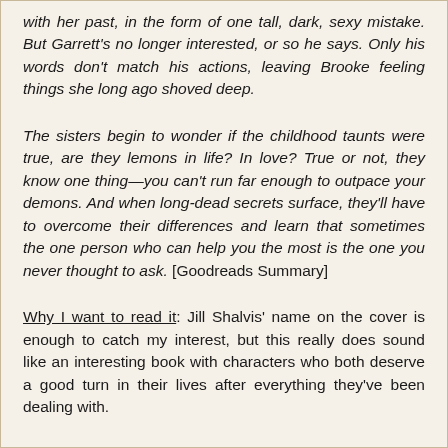with her past, in the form of one tall, dark, sexy mistake. But Garrett's no longer interested, or so he says. Only his words don't match his actions, leaving Brooke feeling things she long ago shoved deep.
The sisters begin to wonder if the childhood taunts were true, are they lemons in life? In love? True or not, they know one thing—you can't run far enough to outpace your demons. And when long-dead secrets surface, they'll have to overcome their differences and learn that sometimes the one person who can help you the most is the one you never thought to ask. [Goodreads Summary]
Why I want to read it: Jill Shalvis' name on the cover is enough to catch my interest, but this really does sound like an interesting book with characters who both deserve a good turn in their lives after everything they've been dealing with.